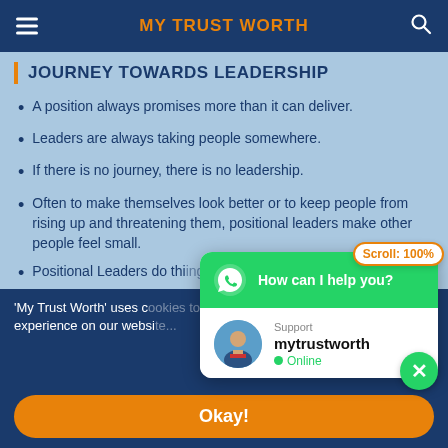MY TRUST WORTH
JOURNEY TOWARDS LEADERSHIP
A position always promises more than it can deliver.
Leaders are always taking people somewhere.
If there is no journey, there is no leadership.
Often to make themselves look better or to keep people from rising up and threatening them, positional leaders make other people feel small.
Positional Leaders do thi...
'My Trust Worth' uses c... experience on our websi...
[Figure (screenshot): WhatsApp chat widget popup with green header showing 'How can I help you?', a scroll badge reading 'Scroll: 100%', support agent avatar, name 'mytrustworth', and 'Online' status indicator]
Okay!